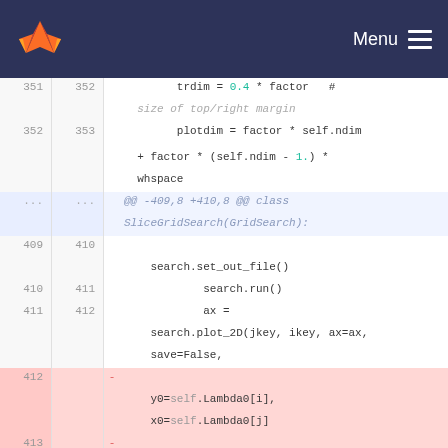[Figure (screenshot): GitLab navigation bar with orange/red fox logo on left and Menu hamburger icon on right, dark navy background]
351  352      trdim = 0.4 * factor   # size of top/right margin
352  353      plotdim = factor * self.ndim + factor * (self.ndim - 1.) * whspace
...  ...  @@ -409,8 +410,8 @@ class SliceGridSearch(GridSearch):
409  410  
         search.set_out_file()
410  411              search.run()
411  412              ax = search.plot_2D(jkey, ikey, ax=ax, save=False,
412       -          y0=self.Lambda0[i],
             x0=self.Lambda0[j]
413       -          )
     413  +          y0=self.Lambda0[i],